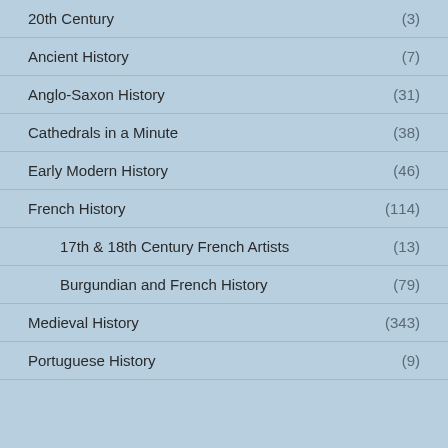20th Century (3)
Ancient History (7)
Anglo-Saxon History (31)
Cathedrals in a Minute (38)
Early Modern History (46)
French History (114)
17th & 18th Century French Artists (13)
Burgundian and French History (79)
Medieval History (343)
Portuguese History (9)